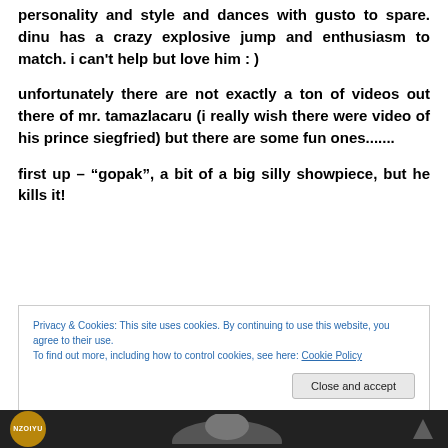personality and style and dances with gusto to spare. dinu has a crazy explosive jump and enthusiasm to match. i can't help but love him : )
unfortunately there are not exactly a ton of videos out there of mr. tamazlacaru (i really wish there were video of his prince siegfried) but there are some fun ones.......
first up – "gopak", a bit of a big silly showpiece, but he kills it!
Privacy & Cookies: This site uses cookies. By continuing to use this website, you agree to their use.
To find out more, including how to control cookies, see here: Cookie Policy
[Figure (photo): Dark banner at bottom of page showing a badge with text 'NZOIYU' and a person's partial image]